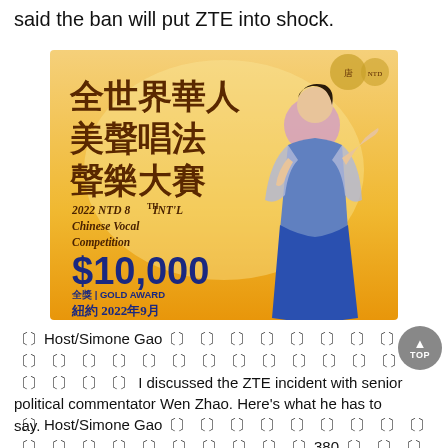said the ban will put ZTE into shock.
[Figure (illustration): Advertisement for 2022 NTD 8th International Chinese Vocal Competition showing Chinese characters for the competition name, a female singer in blue dress on golden background, prize of $10,000 Gold Award, event in New York September 2022]
〔〕Host/Simone Gao〔〕〔〕〔〕〔〕〔〕〔〕〔〕〔〕 〔〕〔〕〔〕〔〕〔〕〔〕〔〕〔〕〔〕〔〕〔〕〔〕〔〕〔〕〔〕〔〕〔〕TOP I discussed the ZTE incident with senior political commentator Wen Zhao. Here's what he has to say.
〔〕Host/Simone Gao〔〕〔〕〔〕〔〕〔〕〔〕〔〕〔〕〔〕〔〕〔〕〔〕〔〕〔〕〔〕〔〕〔〕〔〕〔〕380〔〕〔〕〔〕〔〕〔〕